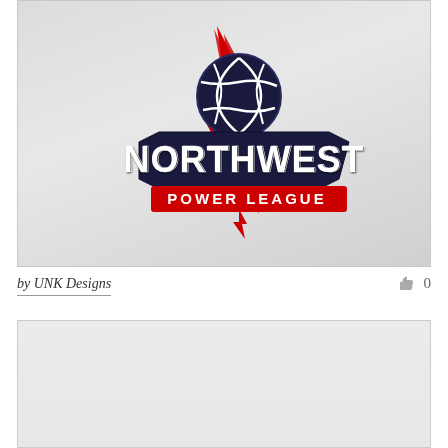[Figure (logo): Northwest Power League volleyball logo with lightning bolt, volleyball, and bold lettering on gray background]
by UNK Designs
0
[Figure (other): Empty gray card area below byline]